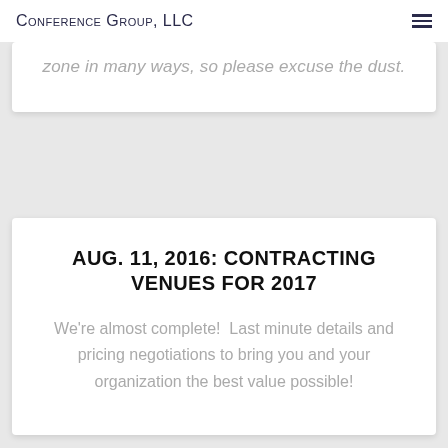Conference Group, LLC
zone in many ways, so please excuse the dust.
AUG. 11, 2016: CONTRACTING VENUES FOR 2017
We're almost complete!  Last minute details and pricing negotiations to bring you and your organization the best value possible!